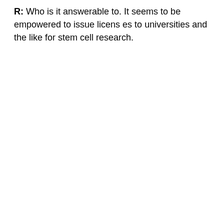R: Who is it answerable to. It seems to be empowered to issue licens es to universities and the like for stem cell research.